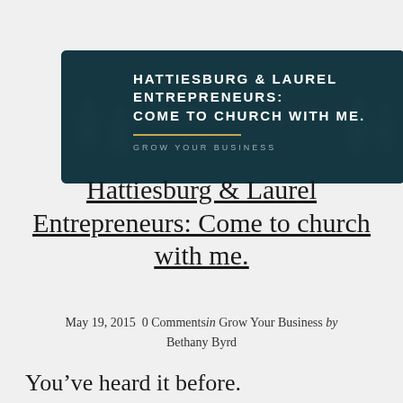[Figure (photo): Dark teal banner image with crowd of people wearing 3D glasses in background, bold white uppercase text reading 'HATTIESBURG & LAUREL ENTREPRENEURS: COME TO CHURCH WITH ME.' with a gold horizontal line and subtitle 'GROW YOUR BUSINESS']
Hattiesburg & Laurel Entrepreneurs: Come to church with me.
May 19, 2015  0 Comments in Grow Your Business by Bethany Byrd
You’ve heard it before.